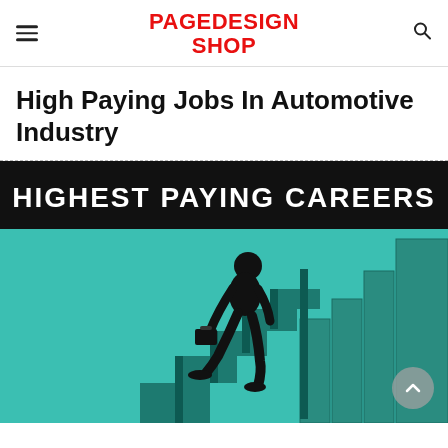PAGEDESIGN SHOP
High Paying Jobs In Automotive Industry
[Figure (infographic): Infographic titled 'HIGHEST PAYING CAREERS' showing a silhouette of a businessman in a suit carrying a briefcase climbing ascending staircase-style bar chart steps, on a teal/green background with a dark header band.]